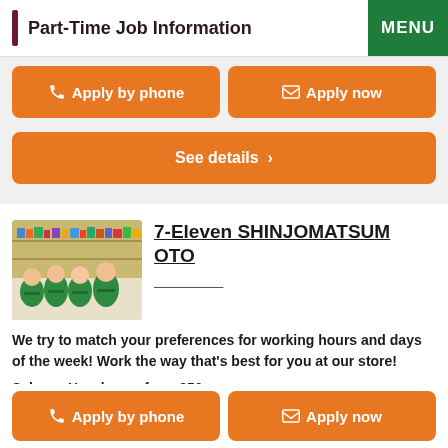Part-Time Job Information
Apply by phone
Apply now
See details
7-Eleven SHINJOMATSUMOTO
We try to match your preferences for working hours and days of the week! Work the way that's best for you at our store!
Salary　Hourly pay from 850 yen
Apply by phone
Apply now